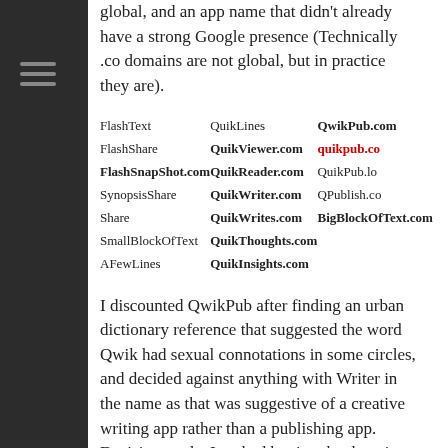global, and an app name that didn't already have a strong Google presence (Technically .co domains are not global, but in practice they are).
| FlashText | QuikLines | QwikPub.com |
| FlashShare | QuikViewer.com | quikpub.co |
| FlashSnapShot.com | QuikReader.com | QuikPub.lo |
| SynopsisShare | QuikWriter.com | QPublish.co |
| Share | QuikWrites.com | BigBlockOfText.com |
| SmallBlockOfText | QuikThoughts.com |  |
| AFewLines | QuikInsights.com |  |
I discounted QwikPub after finding an urban dictionary reference that suggested the word Qwik had sexual connotations in some circles, and decided against anything with Writer in the name as that was suggestive of a creative writing app rather than a publishing app. Decision made, I parked buying the domain for a couple of days in case I changed my mind.